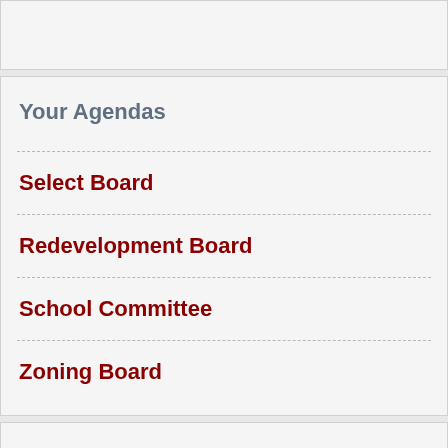Your Agendas
Select Board
Redevelopment Board
School Committee
Zoning Board
Site Partners
Arlington Community Media, inc